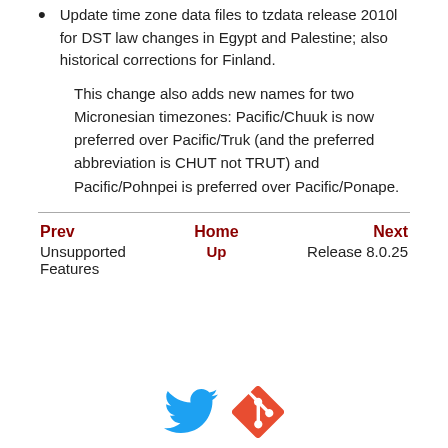Update time zone data files to tzdata release 2010l for DST law changes in Egypt and Palestine; also historical corrections for Finland.
This change also adds new names for two Micronesian timezones: Pacific/Chuuk is now preferred over Pacific/Truk (and the preferred abbreviation is CHUT not TRUT) and Pacific/Pohnpei is preferred over Pacific/Ponape.
Prev | Home | Next | Unsupported Features | Up | Release 8.0.25
[Figure (logo): Twitter bird logo (blue) and Git logo (red/orange diamond with white fork icon)]